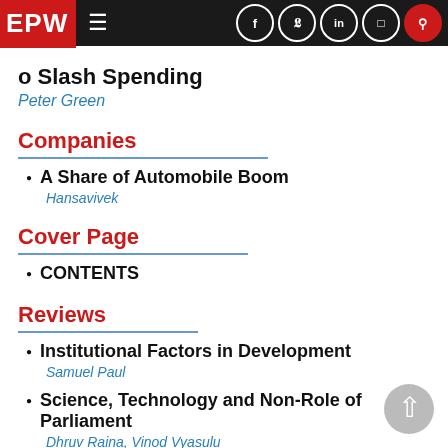EPW
o Slash Spending
Peter Green
Companies
A Share of Automobile Boom
Hansavivek
Cover Page
CONTENTS
Reviews
Institutional Factors in Development
Samuel Paul
Science, Technology and Non-Role of Parliament
Dhruv Raina, Vinod Vyasulu